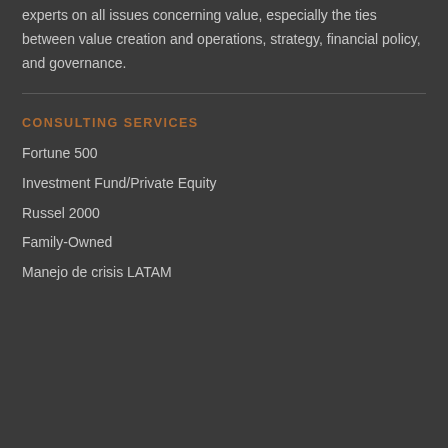We are the creators of the Economic Value Added metric and experts on all issues concerning value, especially the ties between value creation and operations, strategy, financial policy, and governance.
CONSULTING SERVICES
Fortune 500
Investment Fund/Private Equity
Russel 2000
Family-Owned
Manejo de crisis LATAM